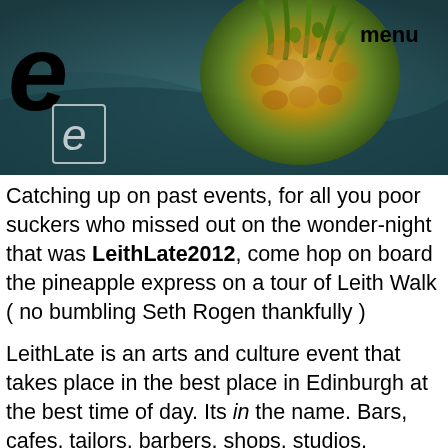[Figure (photo): Dark teal/blue background with a pineapple top visible in the center-right. Large black italic 'e' logo in top-left. Smaller outlined 'e' in the middle-left area. 'menu' text in bold top-right.]
Catching up on past events, for all you poor suckers who missed out on the wonder-night that was LeithLate2012, come hop on board the pineapple express on a tour of Leith Walk ( no bumbling Seth Rogen thankfully )
LeithLate is an arts and culture event that takes place in the best place in Edinburgh at the best time of day. Its in the name. Bars, cafes, tailors, barbers, shops, studios, galleries and community centers all